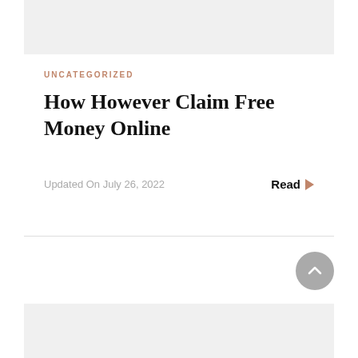[Figure (other): Gray placeholder image/banner area at top]
UNCATEGORIZED
How However Claim Free Money Online
Updated On July 26, 2022
Read ▶
[Figure (other): Scroll-to-top circular button with upward arrow]
[Figure (other): Gray placeholder image/banner area at bottom]